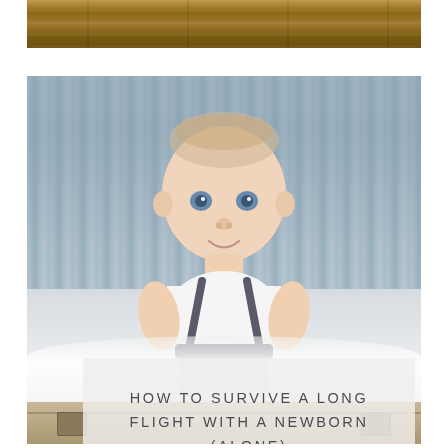[Figure (photo): Top portion of a wooden surface/floor with warm brown tones, appears to be a partial photo at the top of the page]
[Figure (photo): A smiling baby/toddler with light hair sitting in what appears to be a vintage suitcase, against a grey-blue draped fabric background, with a white fluffy blanket beneath them. A semi-transparent white text overlay box contains the article title.]
HOW TO SURVIVE A LONG FLIGHT WITH A NEWBORN (ALONE)